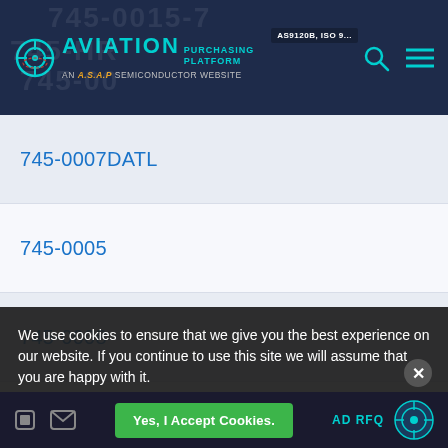[Figure (logo): Aviation Purchasing Platform logo with crosshair icon, teal text, and tagline 'AN A.S.A.P SEMICONDUCTOR WEBSITE'. Search and menu icons on right. AS9120B ISO 90 certification badge partially visible.]
745-0007DATL
745-0005
745-0008
745-0018-DLCO
745-0017
745-0018
745-0009-DLCO
745-00051
745-0007
We use cookies to ensure that we give you the best experience on our website. If you continue to use this site we will assume that you are happy with it.
Yes, I Accept Cookies.
AD RFQ